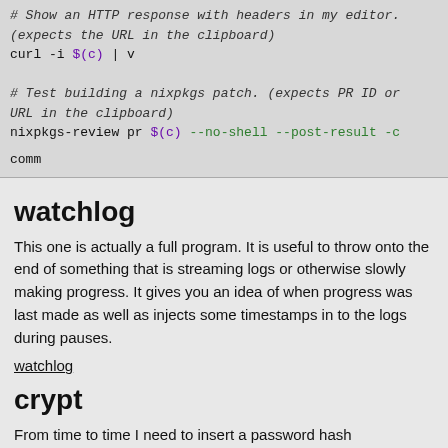# Show an HTTP response with headers in my editor. (expects the URL in the clipboard)
curl -i $(c) | v
# Test building a nixpkgs patch. (expects PR ID or URL in the clipboard)
nixpkgs-review pr $(c) --no-shell --post-result -c comm...
watchlog
This one is actually a full program. It is useful to throw onto the end of something that is streaming logs or otherwise slowly making progress. It gives you an idea of when progress was last made as well as injects some timestamps in to the logs during pauses.
watchlog
crypt
From time to time I need to insert a password hash somewhere. The UNIX crypt format is a common standard for upgradable password hashes. I have a small wrapper that can generate or check password hashes.